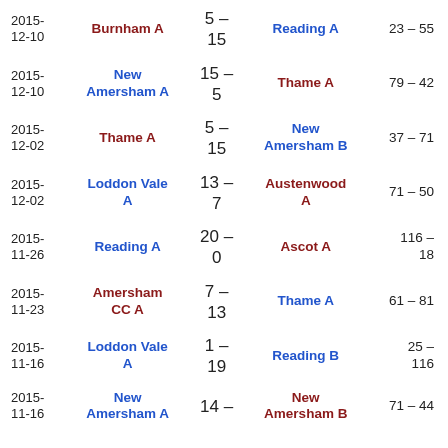| Date | Home Team | Score | Away Team | Result |
| --- | --- | --- | --- | --- |
| 2015-12-10 | Burnham A | 5 – 15 | Reading A | 23 – 55 |
| 2015-12-10 | New Amersham A | 15 – 5 | Thame A | 79 – 42 |
| 2015-12-02 | Thame A | 5 – 15 | New Amersham B | 37 – 71 |
| 2015-12-02 | Loddon Vale A | 13 – 7 | Austenwood A | 71 – 50 |
| 2015-11-26 | Reading A | 20 – 0 | Ascot A | 116 – 18 |
| 2015-11-23 | Amersham CC A | 7 – 13 | Thame A | 61 – 81 |
| 2015-11-16 | Loddon Vale A | 1 – 19 | Reading B | 25 – 116 |
| 2015-11-16 | New Amersham A | 14 – | New Amersham B | 71 – 44 |